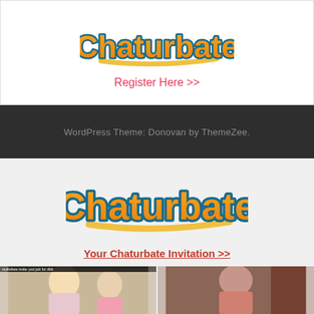[Figure (logo): Chaturbate logo - colorful script lettering in orange with teal/blue outline and yellow underline stroke]
Register Here >>
WordPress Theme: Donovan by ThemeZee.
[Figure (logo): Chaturbate logo - colorful script lettering in orange with teal/blue outline and yellow underline stroke, larger version]
Your Chaturbate Invitation >>
[Figure (photo): Two thumbnail images side by side showing webcam performers. Left thumbnail has small text overlay at top reading 'multivibes invite- just join for dink']